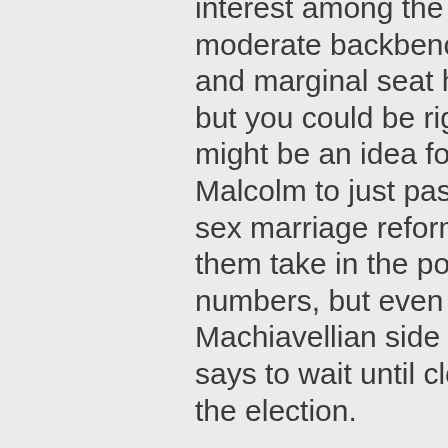interest among the more moderate backbenchers and marginal seat holders, but you could be right. It might be an idea for Malcolm to just pass same sex marriage reform and let them take in the poll numbers, but even then the Machiavellian side of me says to wait until closer to the election.